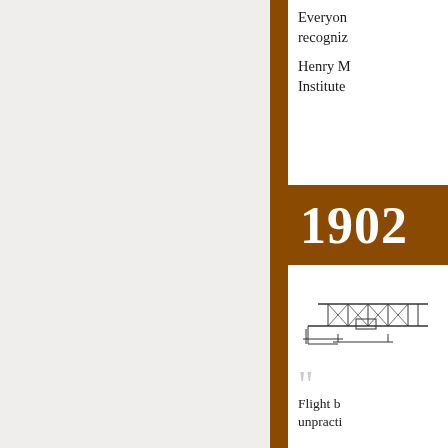Everyone recogniz
Henry M Institute
1902
[Figure (illustration): Line drawing illustration of an early biplane aircraft (circa 1902 Wright brothers era)]
Flight b unpracti